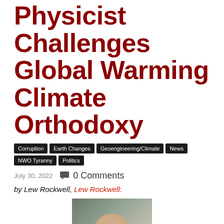Physicist Challenges Global Warming Climate Orthodoxy
Corruption
Earth Changes
Geoengineering/Climate
News
NWO Tyranny
Politics
July 30, 2022   0 Comments
by Lew Rockwell, Lew Rockwell:
[Figure (photo): Headshot of a bald older man with glasses and a gray beard, wearing a dark blazer, smiling]